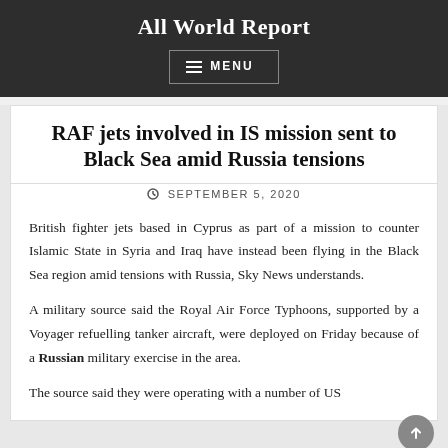All World Report
MENU
RAF jets involved in IS mission sent to Black Sea amid Russia tensions
SEPTEMBER 5, 2020
British fighter jets based in Cyprus as part of a mission to counter Islamic State in Syria and Iraq have instead been flying in the Black Sea region amid tensions with Russia, Sky News understands.
A military source said the Royal Air Force Typhoons, supported by a Voyager refuelling tanker aircraft, were deployed on Friday because of a Russian military exercise in the area.
The source said they were operating with a number of US